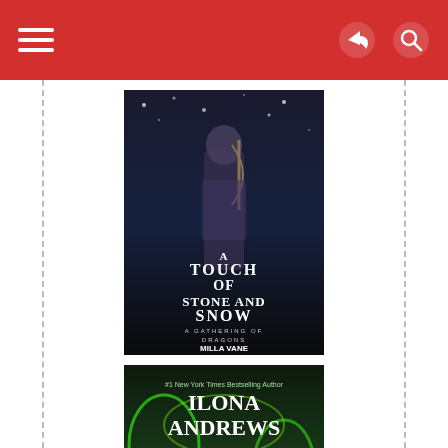Navigation bar with hamburger menu, share icon, and search icon
[Figure (photo): Book cover: 'A Touch of Stone and Snow' - A Gathering of Dragons series by Milla Vane. Dark fantasy cover with armored warrior holding a bow, snowy background.]
[Figure (photo): Book cover: 'Emerald Blaze' - A Hidden Legacy Novel by Ilona Andrews (#1 New York Times Bestselling Author). Green-toned cover with woman in green dress and man in white shirt surrounded by green magical energy.]
[Figure (photo): Book cover: 'Well Played' - Yellow/gold toned cover with green and red text, partially visible at bottom of page.]